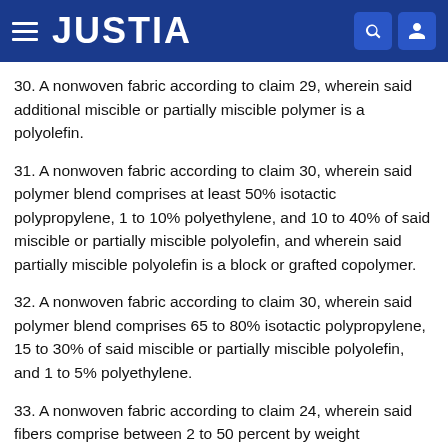JUSTIA
30. A nonwoven fabric according to claim 29, wherein said additional miscible or partially miscible polymer is a polyolefin.
31. A nonwoven fabric according to claim 30, wherein said polymer blend comprises at least 50% isotactic polypropylene, 1 to 10% polyethylene, and 10 to 40% of said miscible or partially miscible polyolefin, and wherein said partially miscible polyolefin is a block or grafted copolymer.
32. A nonwoven fabric according to claim 30, wherein said polymer blend comprises 65 to 80% isotactic polypropylene, 15 to 30% of said miscible or partially miscible polyolefin, and 1 to 5% polyethylene.
33. A nonwoven fabric according to claim 24, wherein said fibers comprise between 2 to 50 percent by weight